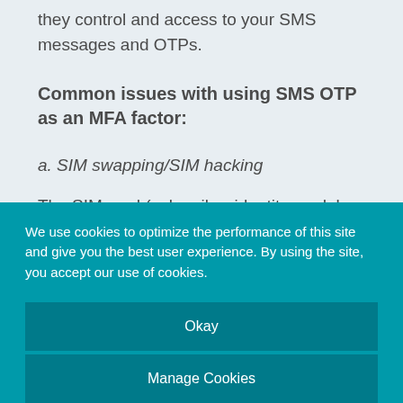they control and access to your SMS messages and OTPs.
Common issues with using SMS OTP as an MFA factor:
a. SIM swapping/SIM hacking
The SIM card (subscriber identity module card) in your phone delegates which wireless carrier your phone should connect to and what phone number to communicate with. In a SIM swap/SIM hack attack, a threat actor
We use cookies to optimize the performance of this site and give you the best user experience. By using the site, you accept our use of cookies.
Okay
Manage Cookies